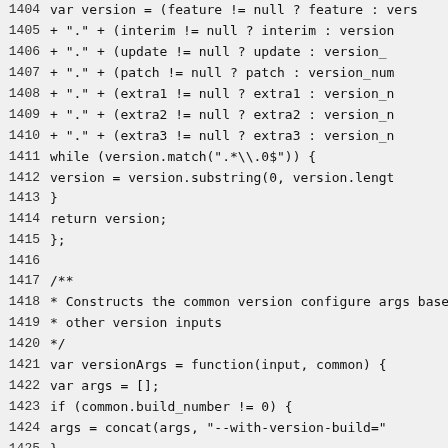Source code listing lines 1404-1433, JavaScript code showing version string construction and versionArgs function definition